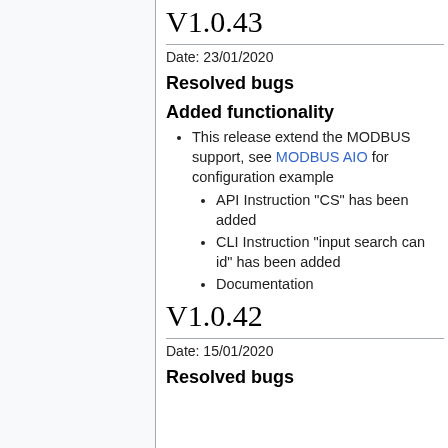V1.0.43
Date: 23/01/2020
Resolved bugs
Added functionality
This release extend the MODBUS support, see MODBUS AIO for configuration example
API Instruction "CS" has been added
CLI Instruction "input search can id" has been added
Documentation
V1.0.42
Date: 15/01/2020
Resolved bugs